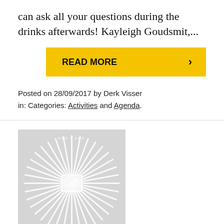can ask all your questions during the drinks afterwards! Kayleigh Goudsmit,...
READ MORE ›
Posted on 28/09/2017 by Derk Visser in: Categories: Activities and Agenda.
[Figure (logo): Circular starburst logo with white rays on light grey background, with a small image placeholder icon in the center]
Cultural History Seminar Series: Sophie van den Elzen (Comparative literature UU)